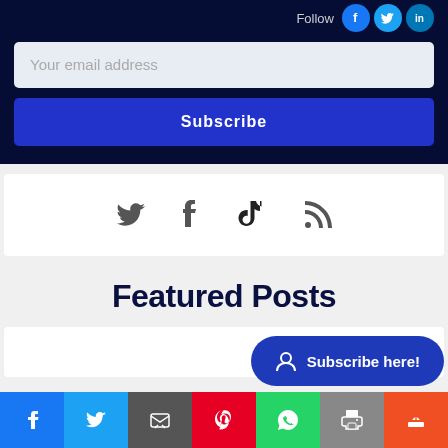Follow
[Figure (infographic): Email subscription form with input field and Subscribe button on dark navy background, with Follow social icons (Facebook, Twitter, LinkedIn) in top right]
[Figure (infographic): Social media icons: Twitter bird, Facebook f, TikTok logo, RSS feed icon on white background]
Featured Posts
[Figure (infographic): Subscribe here! button bubble in blue with user icon]
[Figure (infographic): Bottom share bar with Facebook, Twitter, Email, Pinterest, WhatsApp, Print, More buttons]